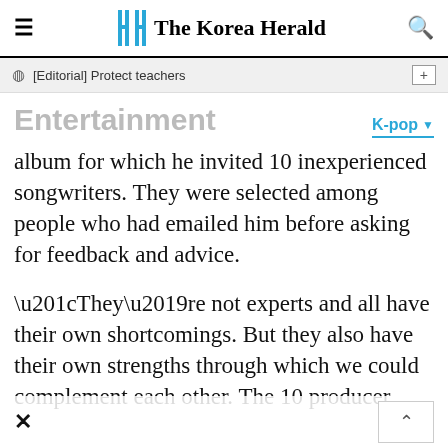The Korea Herald
[Editorial] Protect teachers
Entertainment
K-pop
album for which he invited 10 inexperienced songwriters. They were selected among people who had emailed him before asking for feedback and advice.
“They’re not experts and all have their own shortcomings. But they also have their own strengths through which we could complement each other. The 10 producer